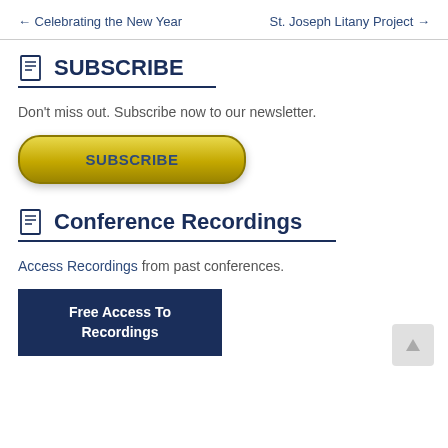← Celebrating the New Year    St. Joseph Litany Project →
SUBSCRIBE
Don't miss out. Subscribe now to our newsletter.
[Figure (other): Yellow rounded subscribe button with text SUBSCRIBE]
Conference Recordings
Access Recordings from past conferences.
[Figure (other): Dark navy blue button with text Free Access To Recordings]